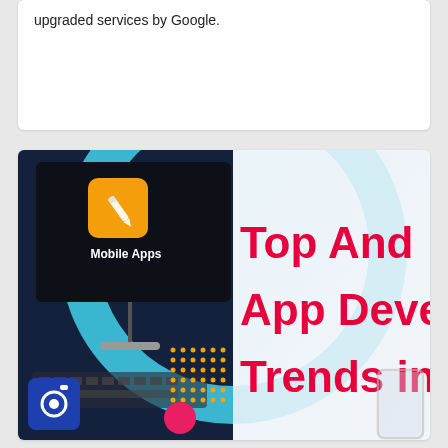upgraded services by Google.
[Figure (illustration): Infographic banner showing a desktop computer with a Mobile Apps screen and an orange pencil icon app, alongside the partial text 'Top Android App Development Trends in' in bold red lettering. Decorative elements include a blue camera icon box, a pink circle, and a yellow dot pattern in the foreground.]